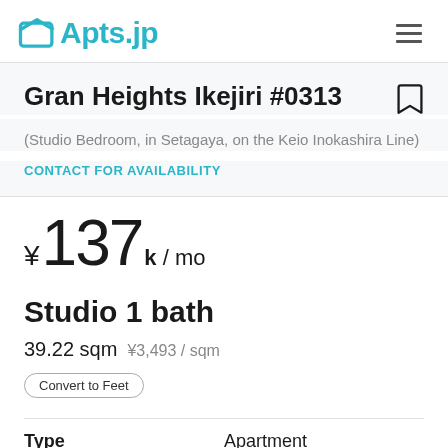Apts.jp
Gran Heights Ikejiri #0313
(Studio Bedroom, in Setagaya, on the Keio Inokashira Line)
CONTACT FOR AVAILABILITY
¥ 137 k / mo
Studio 1 bath
39.22 sqm  ¥3,493 / sqm
Convert to Feet
Type  Apartment